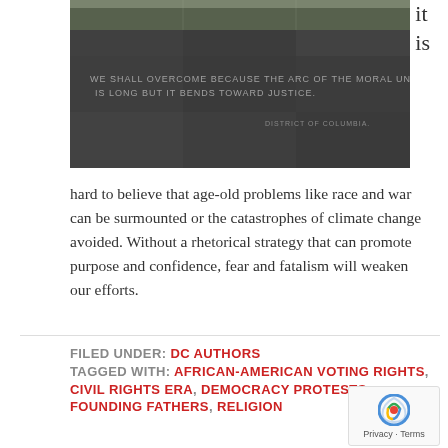it is
[Figure (photo): A dark granite memorial wall with an engraved quote: 'WE SHALL OVERCOME BECAUSE THE ARC OF THE MORAL UNIVERSE IS LONG BUT IT BENDS TOWARD JUSTICE.' and 'DISTRICT OF COLUMBIA' below it. Trees visible in background.]
hard to believe that age-old problems like race and war can be surmounted or the catastrophes of climate change avoided. Without a rhetorical strategy that can promote purpose and confidence, fear and fatalism will weaken our efforts.
FILED UNDER: DC AUTHORS
TAGGED WITH: AFRICAN-AMERICAN VOTING RIGHTS, CIVIL RIGHTS ERA, DEMOCRACY PROTESTS, FOUNDING FATHERS, RELIGION